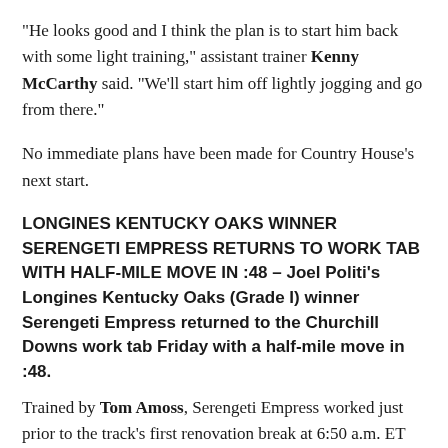“He looks good and I think the plan is to start him back with some light training,” assistant trainer Kenny McCarthy said. “We’ll start him off lightly jogging and go from there.”
No immediate plans have been made for Country House’s next start.
LONGINES KENTUCKY OAKS WINNER SERENGETI EMPRESS RETURNS TO WORK TAB WITH HALF-MILE MOVE IN :48 – Joel Politi’s Longines Kentucky Oaks (Grade I) winner Serengeti Empress returned to the Churchill Downs work tab Friday with a half-mile move in :48.
Trained by Tom Amoss, Serengeti Empress worked just prior to the track’s first renovation break at 6:50 a.m. ET through splits of :12.40, :24.20 and :36.40 before galloping out five furlongs in 1:00.80 and completing her work with a six-furlong gallop out of 1:14,